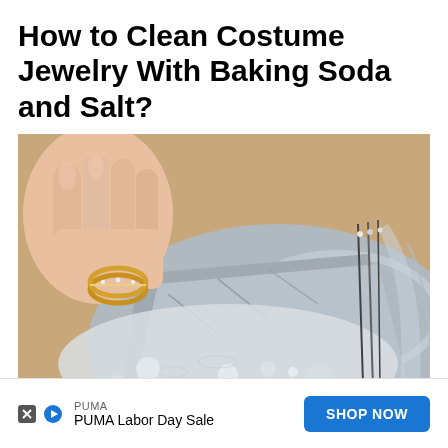How to Clean Costume Jewelry With Baking Soda and Salt?
[Figure (photo): A hand holding a gold ring being dipped into a glass bowl of foamy/bubbly water with aluminum foil lining, and necklaces hanging over the side of the bowl]
PUMA  PUMA Labor Day Sale  SHOP NOW